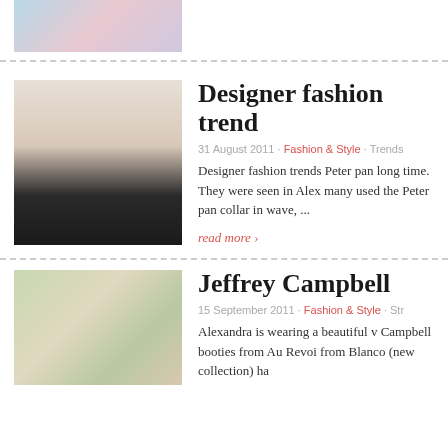[Figure (photo): Top portion of a fashion/art image, partially cropped at top of page]
[Figure (photo): Young woman with long blonde hair wearing a pink top with white Peter Pan collar and black skirt]
Designer fashion trend
31 August 2011 · Fashion & Style · Trends
Designer fashion trends Peter pan long time. They were seen in Alex many used the Peter pan collar in wave, ...
read more ›
[Figure (photo): Young woman with sunglasses and headband in outdoor setting, Jeffrey Campbell article]
Jeffrey Campbell
15 September 2011 · Fashion & Style · Str
Alexandra is wearing a beautiful v Campbell booties from Au Revoi from Blanco (new collection) ha